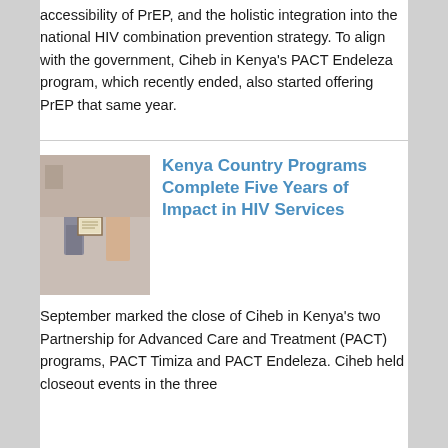accessibility of PrEP, and the holistic integration into the national HIV combination prevention strategy. To align with the government, Ciheb in Kenya's PACT Endeleza program, which recently ended, also started offering PrEP that same year.
[Figure (photo): Two people wearing masks, one holding a framed certificate or plaque, indoors.]
Kenya Country Programs Complete Five Years of Impact in HIV Services
September marked the close of Ciheb in Kenya's two Partnership for Advanced Care and Treatment (PACT) programs, PACT Timiza and PACT Endeleza. Ciheb held closeout events in the three